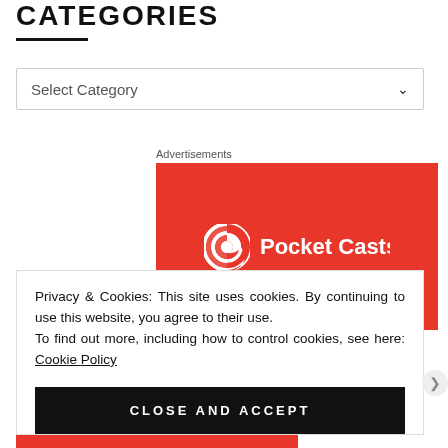CATEGORIES
Select Category
Advertisements
[Figure (logo): Pocket Casts logo on red background — circular podcast icon and white text 'Pocket Casts']
Privacy & Cookies: This site uses cookies. By continuing to use this website, you agree to their use.
To find out more, including how to control cookies, see here: Cookie Policy
CLOSE AND ACCEPT